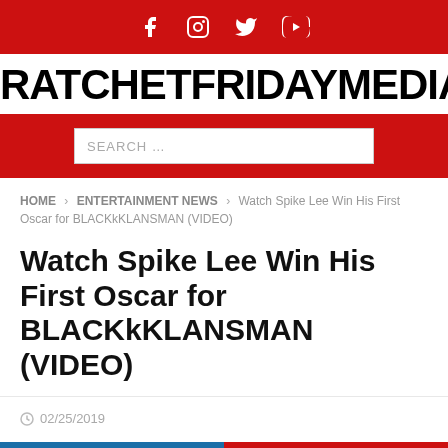Social media icons: Facebook, Instagram, Twitter, YouTube
RATCHETFRIDAYMEDIA
SEARCH ...
HOME > ENTERTAINMENT NEWS > Watch Spike Lee Win His First Oscar for BLACKkKLANSMAN (VIDEO)
Watch Spike Lee Win His First Oscar for BLACKkKLANSMAN (VIDEO)
02/25/2019